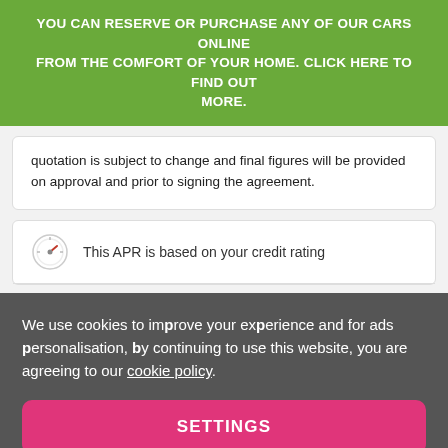YOU CAN RESERVE OR PURCHASE ANY OF OUR CARS ONLINE FROM THE COMFORT OF YOUR HOME. CLICK HERE TO FIND OUT MORE.
quotation is subject to change and final figures will be provided on approval and prior to signing the agreement.
This APR is based on your credit rating
We use cookies to improve your experience and for ads personalisation, by continuing to use this website, you are agreeing to our cookie policy.
SETTINGS
ACCEPT ALL